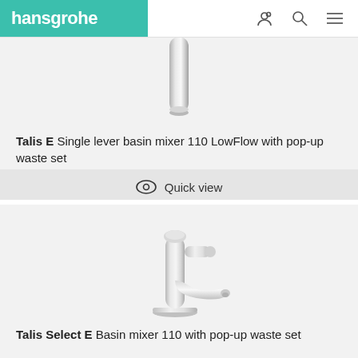hansgrohe
[Figure (photo): Partial view of a chrome basin mixer tap spout, cropped at top of card]
Talis E Single lever basin mixer 110 LowFlow with pop-up waste set
Quick view
[Figure (photo): Chrome Talis Select E basin mixer tap 110 with single lever on right side, full product photo on light grey background]
Talis Select E Basin mixer 110 with pop-up waste set